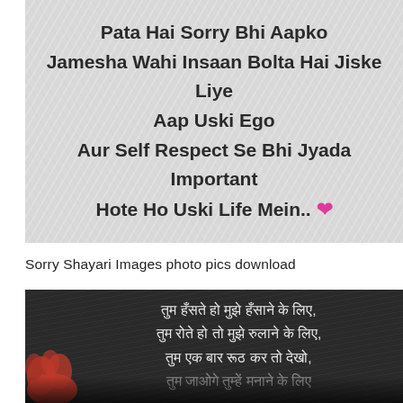[Figure (photo): Shayari text on textured white/grey background: 'Pata Hai Sorry Bhi Aapko / Jamesha Wahi Insaan Bolta Hai Jiske Liye / Aap Uski Ego / Aur Self Respect Se Bhi Jyada Important / Hote Ho Uski Life Mein.. ♥']
Sorry Shayari Images photo pics download
[Figure (photo): Dark chalkboard background with Hindi Shayari text in white: 'तुम हँसते हो मुझे हँसाने के लिए, / तुम रोते हो तो मुझे रुलाने के लिए, / तुम एक बार रूठ कर तो देखो, / [partially visible line]' with red flower/heart decoration at bottom left.]